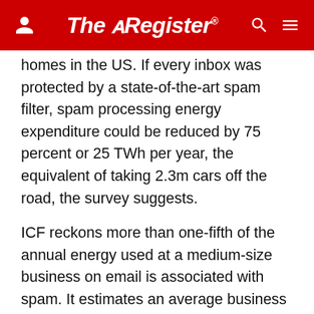The Register
homes in the US. If every inbox was protected by a state-of-the-art spam filter, spam processing energy expenditure could be reduced by 75 percent or 25 TWh per year, the equivalent of taking 2.3m cars off the road, the survey suggests.
ICF reckons more than one-fifth of the annual energy used at a medium-size business on email is associated with spam. It estimates an average business email user is responsible for 131kg of CO2 per year in email-related emissions, one-fifth (or 22 per) is related to spam.
There are more leaps of logic in that reckoning than it's possible to adequately summarise. For starters, there's